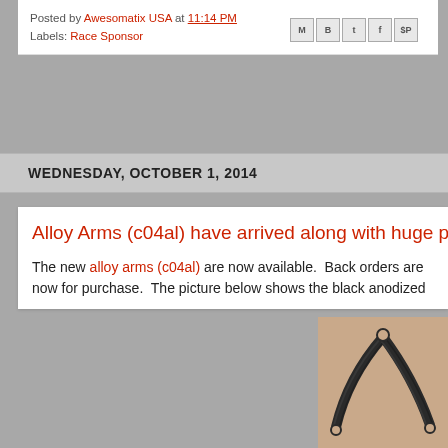Posted by Awesomatix USA at 11:14 PM
Labels: Race Sponsor
WEDNESDAY, OCTOBER 1, 2014
Alloy Arms (c04al) have arrived along with huge par
The new alloy arms (c04al) are now available.  Back orders are now for purchase.  The picture below shows the black anodized
[Figure (photo): Photo of a black carbon fiber or anodized alloy wishbone arm shaped like a V/boomerang with holes at the ends, photographed on a beige/tan background.]